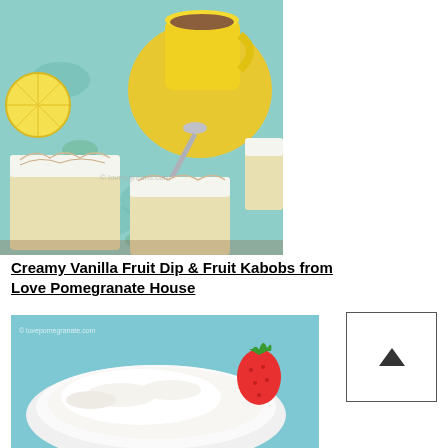[Figure (photo): Photo of lemon meringue bar cookies on a teal floral tablecloth with a yellow coffee cup and saucer and lemon slices]
Creamy Vanilla Fruit Dip & Fruit Kabobs from Love Pomegranate House
[Figure (photo): Photo of a white bowl filled with creamy vanilla fruit dip, with a strawberry resting on the rim, on a light blue background]